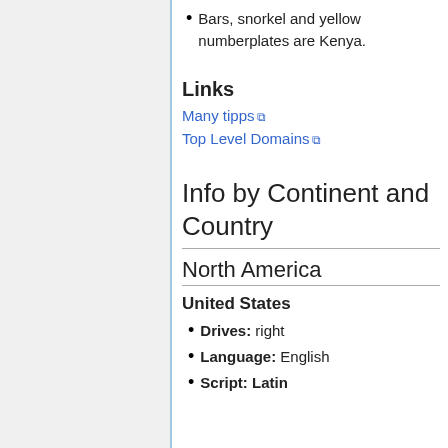Bars, snorkel and yellow numberplates are Kenya.
Links
Many tipps ↗
Top Level Domains ↗
Info by Continent and Country
North America
United States
Drives: right
Language: English
Script: Latin